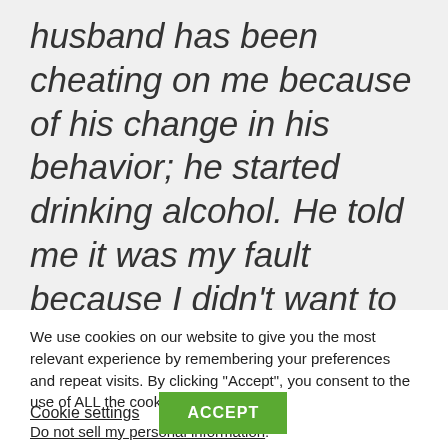husband has been cheating on me because of his change in his behavior; he started drinking alcohol. He told me it was my fault because I didn't want to listen to his words. I feel really sad and depressed
We use cookies on our website to give you the most relevant experience by remembering your preferences and repeat visits. By clicking “Accept”, you consent to the use of ALL the cookies.
Do not sell my personal information.
Cookie settings
ACCEPT